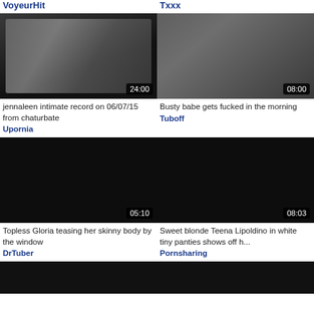VoyeurHit
Txxx
[Figure (photo): Video thumbnail showing woman in sports bra, duration 24:00]
[Figure (photo): Video thumbnail showing couple, duration 08:00]
jennaleen intimate record on 06/07/15 from chaturbate
Upornia
Busty babe gets fucked in the morning
Tuboff
[Figure (photo): Dark video thumbnail, duration 05:10]
[Figure (photo): Dark video thumbnail, duration 08:03]
Topless Gloria teasing her skinny body by the window
DrTuber
Sweet blonde Teena Lipoldino in white tiny panties shows off h...
Pornsharing
[Figure (photo): Dark video thumbnail at bottom left]
[Figure (photo): Dark video thumbnail at bottom right]